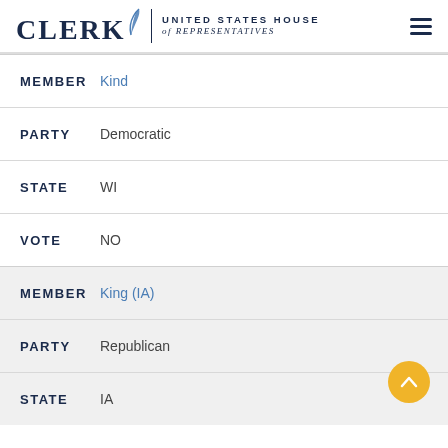CLERK UNITED STATES HOUSE of REPRESENTATIVES
MEMBER Kind
PARTY Democratic
STATE WI
VOTE NO
MEMBER King (IA)
PARTY Republican
STATE IA